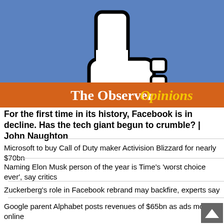[Figure (illustration): Blue background with a large white thumbs-down icon outlined in black, and an orange banner at the bottom reading 'The Observer Opinions' in white and yellow bold text.]
For the first time in its history, Facebook is in decline. Has the tech giant begun to crumble? | John Naughton
Microsoft to buy Call of Duty maker Activision Blizzard for nearly $70bn
Naming Elon Musk person of the year is Time's 'worst choice ever', say critics
Zuckerberg's role in Facebook rebrand may backfire, experts say
Google parent Alphabet posts revenues of $65bn as ads move online